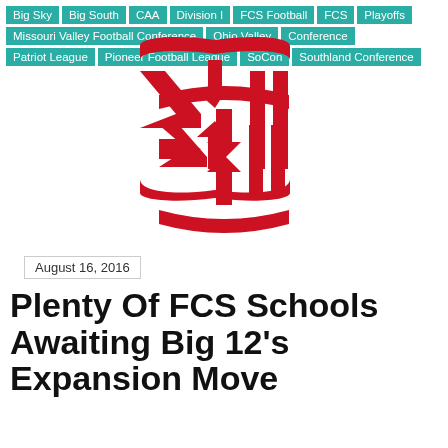Big Sky | Big South | CAA | Division I | FCS Football | FCS Playoffs | Missouri Valley Football Conference | Ohio Valley Conference | Patriot League | Pioneer Football League | SoCon | Southland Conference
[Figure (logo): Big 12 Conference logo in red — stylized Roman numeral XII with arrows pointing inward, framed by curved top and bottom bars]
August 16, 2016
Plenty Of FCS Schools Awaiting Big 12's Expansion Move